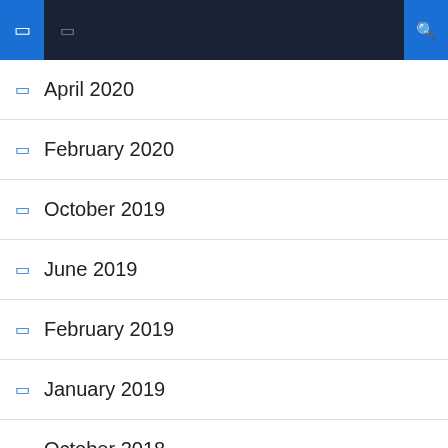Navigation header with menu icons and search
April 2020
February 2020
October 2019
June 2019
February 2019
January 2019
October 2018
September 2018
July 2018
February 2018